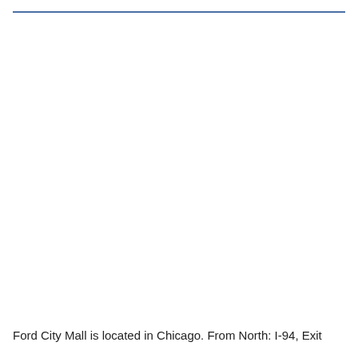Ford City Mall is located in Chicago. From North: I-94, Exit